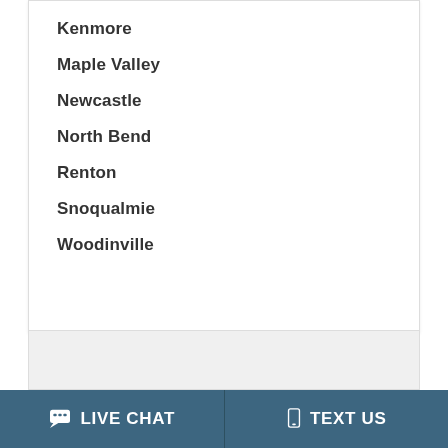Kenmore
Maple Valley
Newcastle
North Bend
Renton
Snoqualmie
Woodinville
LIVE CHAT   TEXT US